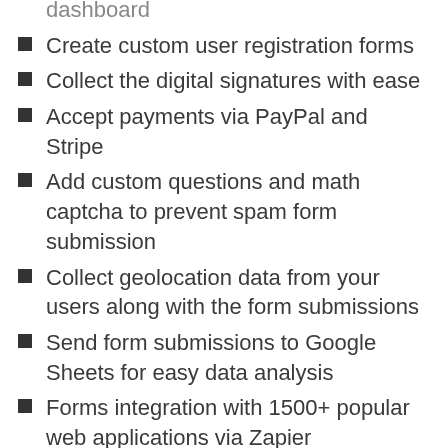dashboard
Create custom user registration forms
Collect the digital signatures with ease
Accept payments via PayPal and Stripe
Add custom questions and math captcha to prevent spam form submission
Collect geolocation data from your users along with the form submissions
Send form submissions to Google Sheets for easy data analysis
Forms integration with 1500+ popular web applications via Zapier
100% responsive Design that fits beautifully with any devices
100% GDPR Compliant forms
Translation ready and WPML compatible
Custom CSS
Shortcode Support
Detailed documentation for easy navigation